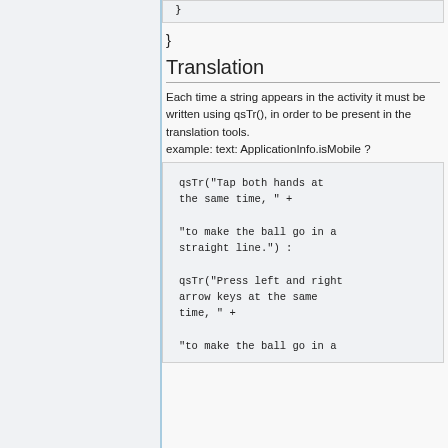}
Translation
Each time a string appears in the activity it must be written using qsTr(), in order to be present in the translation tools.
example: text: ApplicationInfo.isMobile ?
qsTr("Tap both hands at the same time, " +

"to make the ball go in a straight line.") :

qsTr("Press left and right arrow keys at the same time, " +

"to make the ball go in a